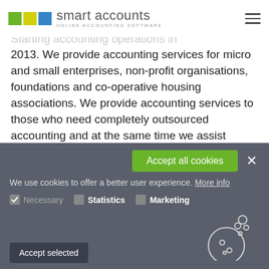[Figure (logo): Smart Accounts logo with colored squares (green, yellow, blue) and text 'smart accounts / ONLINE ACCOUNTING SOFTWARE']
Starting accounting operations in 2013. We provide accounting services for micro and small enterprises, non-profit organisations, foundations and co-operative housing associations. We provide accounting services to those who need completely outsourced accounting and at the same time we assist entrepreneurs who want to do their own accounting. We organize the accounts for previous periods and prepare the annual reports. We consider correctness, compliance with
We use cookies to offer a better user experience. More info
Necessary   Statistics   Marketing
Accept selected